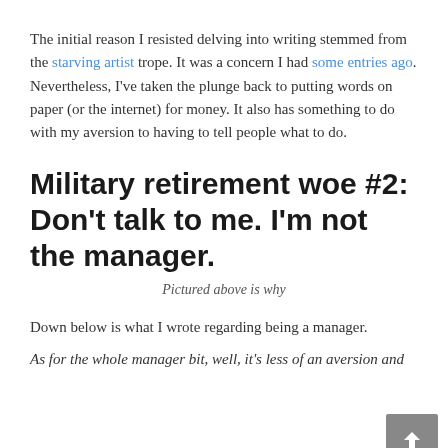The initial reason I resisted delving into writing stemmed from the starving artist trope. It was a concern I had some entries ago. Nevertheless, I've taken the plunge back to putting words on paper (or the internet) for money. It also has something to do with my aversion to having to tell people what to do.
Military retirement woe #2: Don't talk to me. I'm not the manager.
Pictured above is why
Down below is what I wrote regarding being a manager.
As for the whole manager bit, well, it's less of an aversion and